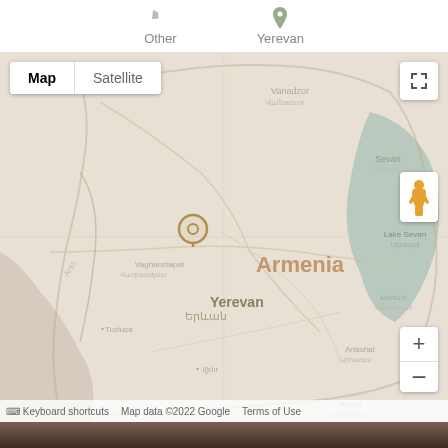[Figure (screenshot): Top navigation bar with map location icons for 'Other' and 'Yerevan']
[Figure (map): Google Map centered on Yerevan, Armenia, showing surrounding regions including Lake Sevan, Vagharshapat, Artashat, Ararat, Muğanciq. Map controls include Map/Satellite toggle, fullscreen button, pegman, and zoom +/- buttons. Footer shows keyboard shortcuts, Map data ©2022 Google, Terms of Use.]
Related Tours
[Figure (photo): Partial photo strip at bottom of page showing a dark outdoor/nature scene]